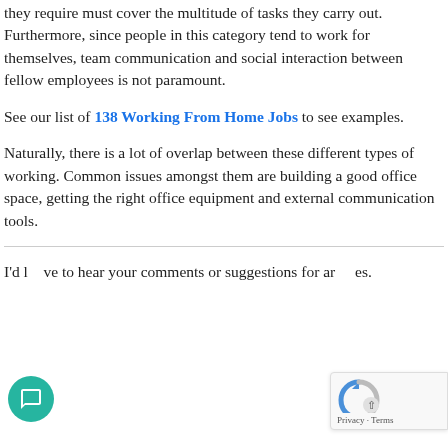they require must cover the multitude of tasks they carry out. Furthermore, since people in this category tend to work for themselves, team communication and social interaction between fellow employees is not paramount.
See our list of 138 Working From Home Jobs to see examples.
Naturally, there is a lot of overlap between these different types of working. Common issues amongst them are building a good office space, getting the right office equipment and external communication tools.
I'd love to hear your comments or suggestions for articles.